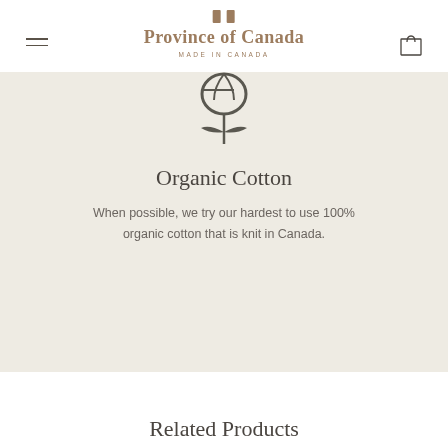Province of Canada — MADE IN CANADA
[Figure (illustration): Stylized cotton plant icon in dark olive/grey color, showing the cotton boll shape]
Organic Cotton
When possible, we try our hardest to use 100% organic cotton that is knit in Canada.
Related Products